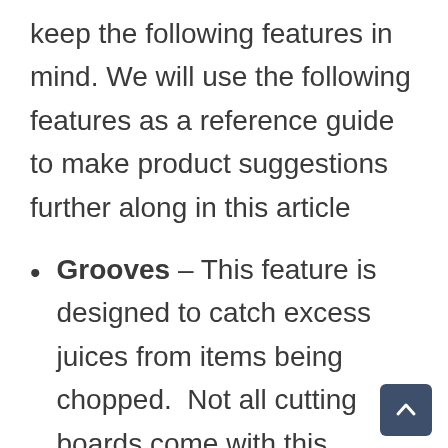keep the following features in mind. We will use the following features as a reference guide to make product suggestions further along in this article
Grooves – This feature is designed to catch excess juices from items being chopped.  Not all cutting boards come with this feature and you may decide that you don't need it.